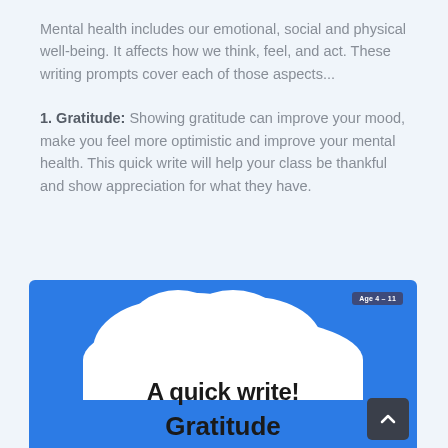Mental health includes our emotional, social and physical well-being. It affects how we think, feel, and act. These writing prompts cover each of those aspects...
1. Gratitude: Showing gratitude can improve your mood, make you feel more optimistic and improve your mental health. This quick write will help your class be thankful and show appreciation for what they have.
[Figure (illustration): Blue background educational card showing clouds and white text banner reading 'A quick write! Gratitude' with an 'Age 4–11' badge in the top right corner.]